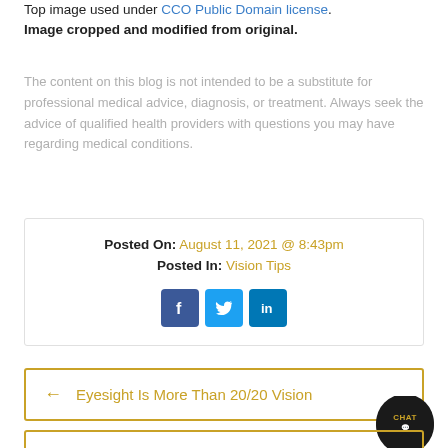Top image used under CCO Public Domain license. Image cropped and modified from original.
The content on this blog is not intended to be a substitute for professional medical advice, diagnosis, or treatment. Always seek the advice of qualified health providers with questions you may have regarding medical conditions.
Posted On: August 11, 2021 @ 8:43pm
Posted In: Vision Tips
[Figure (infographic): Social media sharing icons: Facebook (blue), Twitter (light blue), LinkedIn (dark blue)]
← Eyesight Is More Than 20/20 Vision
→ How Does Animal Eyesight Work?